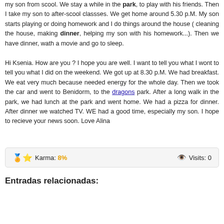my son from scool. We stay a while in the park, to play with his friends. Then I take my son to after-scool classses. We get home around 5.30 p.M. My son starts playing or doing homework and I do things around the house ( cleaning the house, making dinner, helping my son with his homework...). Then we have dinner, wath a movie and go to sleep.
Hi Ksenia. How are you ? I hope you are well. I want to tell you what I wont to tell you what I did on the weekend. We got up at 8.30 p.M. We had breakfast. We eat very much because needed energy for the whole day. Then we took the car and went to Benidorm, to the dragons park. After a long walk in the park, we had lunch at the park and went home. We had a pizza for dinner. After dinner we watched TV. WE had a good time, especially my son. I hope to recieve your news soon. Love Alina
Karma: 8%   Visits: 0
Entradas relacionadas: